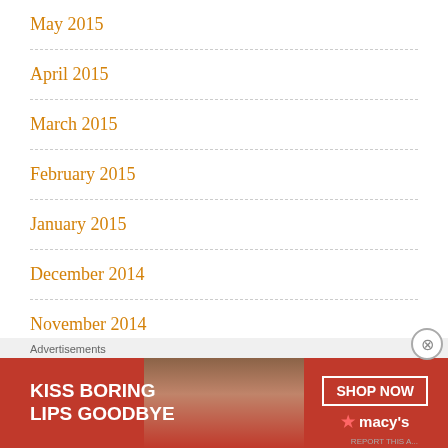May 2015
April 2015
March 2015
February 2015
January 2015
December 2014
November 2014
October 2014
September 2014
[Figure (infographic): Macy's advertisement banner: 'KISS BORING LIPS GOODBYE' with a SHOP NOW button and Macy's star logo, featuring a close-up photo of a woman with red lips.]